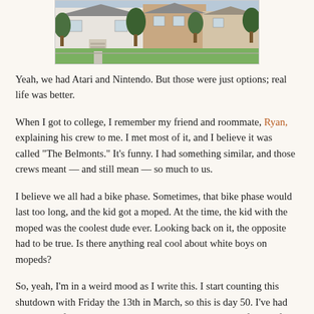[Figure (photo): Photograph of a house exterior with a lawn, trees, and a front walkway leading to steps and the front door. Brick house visible in background.]
Yeah, we had Atari and Nintendo. But those were just options; real life was better.
When I got to college, I remember my friend and roommate, Ryan, explaining his crew to me. I met most of it, and I believe it was called "The Belmonts." It's funny. I had something similar, and those crews meant — and still mean — so much to us.
I believe we all had a bike phase. Sometimes, that bike phase would last too long, and the kid got a moped. At the time, the kid with the moped was the coolest dude ever. Looking back on it, the opposite had to be true. Is there anything real cool about white boys on mopeds?
So, yeah, I'm in a weird mood as I write this. I start counting this shutdown with Friday the 13th in March, so this is day 50. I've had some good family time, but 50 days? This is quite a hall for all of us. Luckily, I've discovered those bike rides, and I remain...